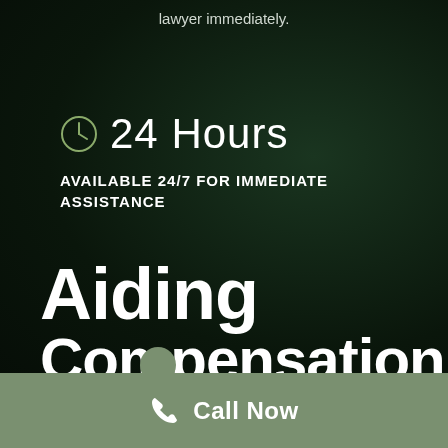lawyer immediately.
24 Hours
AVAILABLE 24/7 FOR IMMEDIATE ASSISTANCE
Aiding Compensation
Call Now